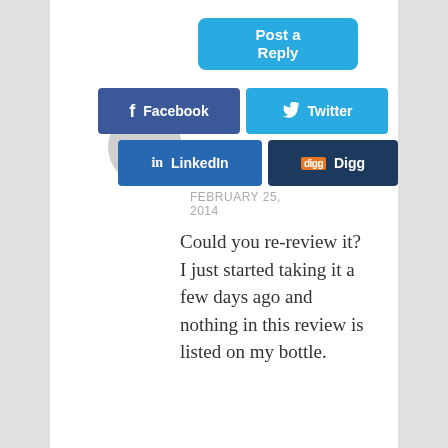Post a Reply
Facebook
Twitter
LinkedIn
Digg
FEBRUARY 25, 2014
Could you re-review it? I just started taking it a few days ago and nothing in this review is listed on my bottle.